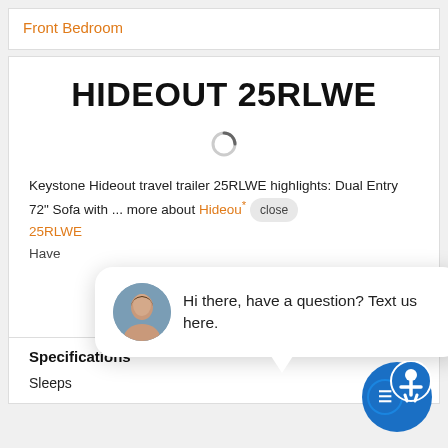Front Bedroom
HIDEOUT 25RLWE
[Figure (illustration): Loading spinner icon]
Keystone Hideout travel trailer 25RLWE highlights: Dual Entry 72" Sofa with ... more about Hideout 25RLWE
[Figure (illustration): Chat popup with woman avatar. Text: Hi there, have a question? Text us here.]
Have
Contact Us
Specifications
Sleeps	4